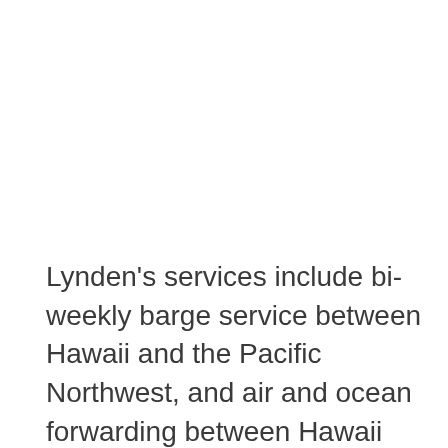Lynden's services include bi-weekly barge service between Hawaii and the Pacific Northwest, and air and ocean forwarding between Hawaii and anywhere in the U.S. or internationally. Our diverse capabilities allow customers to vary shipping speeds to match their requirements. If something is needed